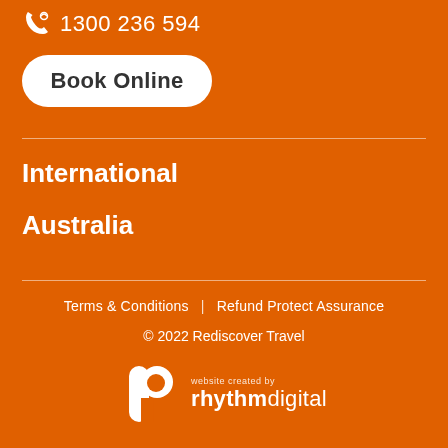1300 236 594
Book Online
International
Australia
Terms & Conditions  |  Refund Protect Assurance
© 2022 Rediscover Travel
[Figure (logo): Rhythm Digital logo — stylised 'd' icon with 'website created by rhythmdigital' text]